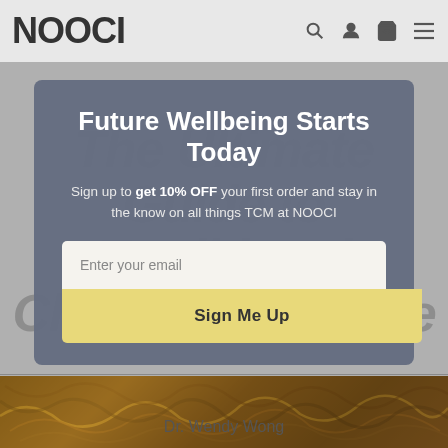NOOCI
Future Wellbeing Starts Today
Sign up to get 10% OFF your first order and stay in the know on all things TCM at NOOCI
Enter your email
Sign Me Up
The Ultimate Guide to Traditional Chinese Medicine
Dr. Wendy Wong
[Figure (photo): Dried herbs or roots, brown and tangled, filling the bottom strip of the page]